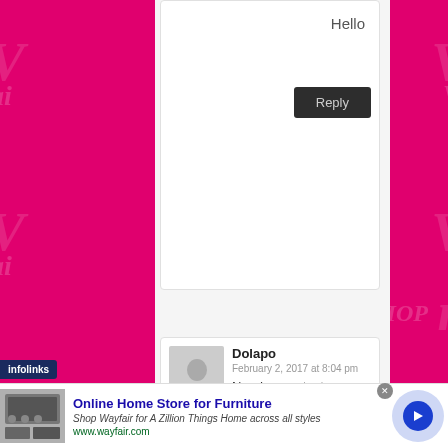Hello
Reply
Dolapo
February 2, 2017 at 8:04 pm
Need ur contact number pls
Reply
infolinks
Online Home Store for Furniture
Shop Wayfair for A Zillion Things Home across all styles
www.wayfair.com